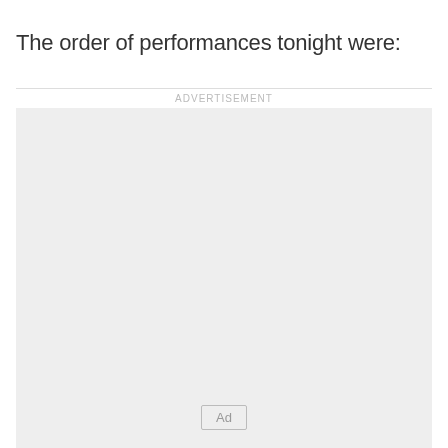The order of performances tonight were:
[Figure (other): Advertisement placeholder box with 'ADVERTISEMENT' label above and 'Ad' button centered near bottom]